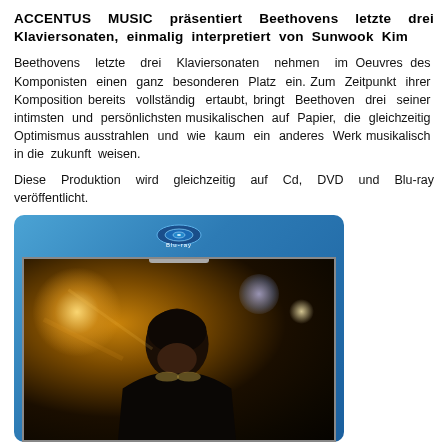ACCENTUS MUSIC präsentiert Beethovens letzte drei Klaviersonaten, einmalig interpretiert von Sunwook Kim
Beethovens letzte drei Klaviersonaten nehmen im Oeuvres des Komponisten einen ganz besonderen Platz ein. Zum Zeitpunkt ihrer Komposition bereits vollständig ertaubt, bringt Beethoven drei seiner intimsten und persönlichsten musikalischen auf Papier, die gleichzeitig Optimismus ausstrahlen und wie kaum ein anderes Werk musikalisch in die zukunft weisen.
Diese Produktion wird gleichzeitig auf Cd, DVD und Blu-ray veröffentlicht.
[Figure (photo): Blu-ray disc case with a photo of a pianist (Sunwook Kim) bowing over a piano under dramatic stage lighting with warm golden and cool blue lens flares]